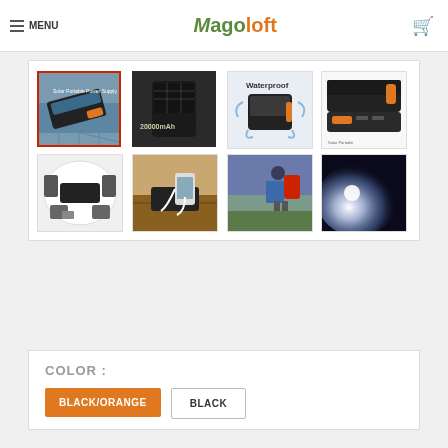MENU | Magoloft
[Figure (screenshot): Product image gallery showing 8 thumbnail images of a solar portable power bank. First image (selected, red border) shows the power bank on solar panels. Second shows '20000mAh' text. Third shows 'Waterproof' label. Fourth shows product detail. Bottom row: product with accessories, charging phones, hiker with backpack, flashlight beam.]
COLOR :
BLACK/ORANGE (selected, orange button)
BLACK (outline button)